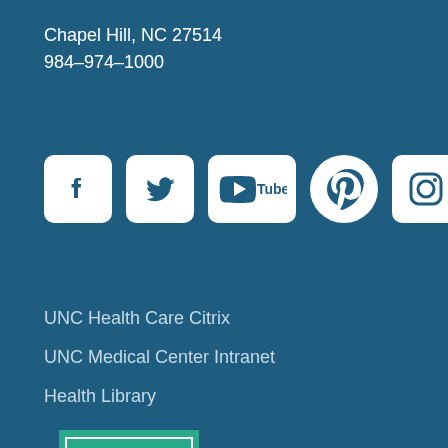Chapel Hill, NC 27514
984-974-1000
[Figure (logo): Social media icons row: Facebook, Twitter, YouTube, Pinterest, Instagram, UNC Health Talk]
UNC Health Care Citrix
UNC Medical Center Intranet
Health Library
[Figure (logo): Magnet Recognized - American Nurses Credentialing Center badge in teal/green with arrow shape and wheat symbol]